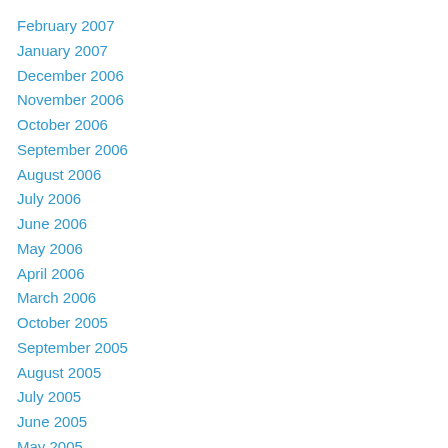February 2007
January 2007
December 2006
November 2006
October 2006
September 2006
August 2006
July 2006
June 2006
May 2006
April 2006
March 2006
October 2005
September 2005
August 2005
July 2005
June 2005
May 2005
April 2005
March 2005